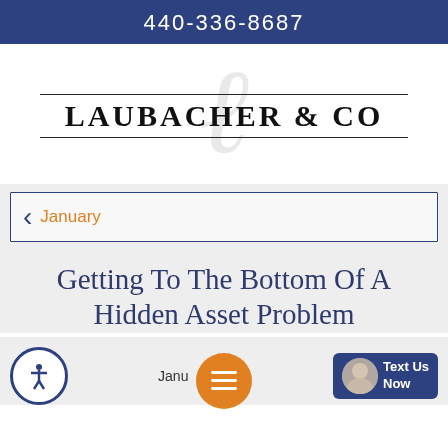440-336-8687
[Figure (logo): Laubacher & Co logo with decorative script L watermark and two horizontal lines flanking the bold serif text]
January
Getting To The Bottom Of A Hidden Asset Problem
January 2019